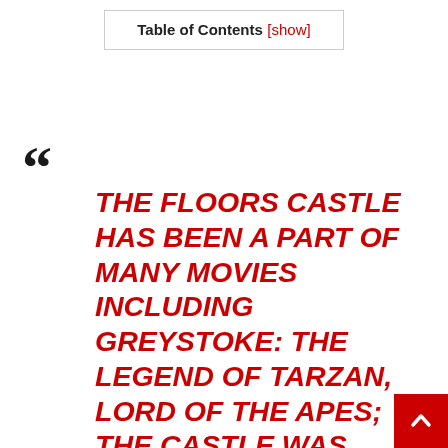Table of Contents [show]
THE FLOORS CASTLE HAS BEEN A PART OF MANY MOVIES INCLUDING GREYSTOKE: THE LEGEND OF TARZAN, LORD OF THE APES; THE CASTLE WAS EVEN FEATURED ON AMAZON PRIME’S “AN AMERICAN ARISTOCRAT’S GUIDE TO GREAT ESTATES.”